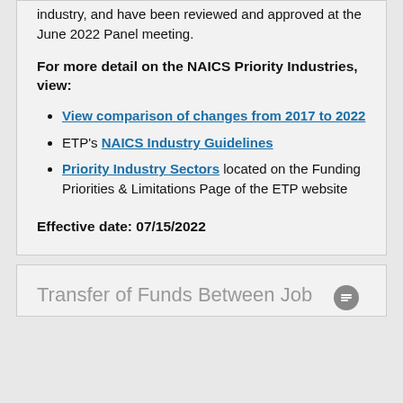industry, and have been reviewed and approved at the June 2022 Panel meeting.
For more detail on the NAICS Priority Industries, view:
View comparison of changes from 2017 to 2022
ETP's NAICS Industry Guidelines
Priority Industry Sectors located on the Funding Priorities & Limitations Page of the ETP website
Effective date: 07/15/2022
Transfer of Funds Between Job